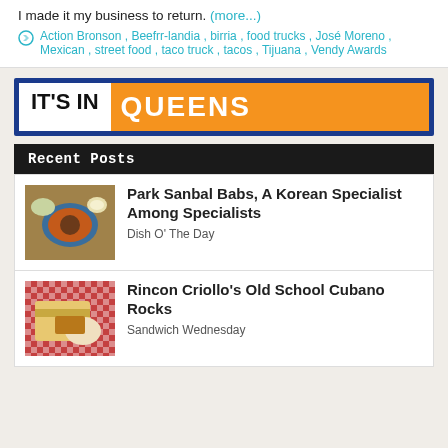I made it my business to return. (more...)
Action Bronson, Beefrr-landia, birria, food trucks, José Moreno, Mexican, street food, taco truck, tacos, Tijuana, Vendy Awards
[Figure (logo): IT'S IN QUEENS logo banner with blue border, black and white left panel reading IT'S IN and orange right panel reading QUEENS]
Recent Posts
[Figure (photo): Korean soup dish in blue bowl with side dishes]
Park Sanbal Babs, A Korean Specialist Among Specialists
Dish O' The Day
[Figure (photo): Hand holding Cuban sandwich on plate with red checkered tablecloth]
Rincon Criollo's Old School Cubano Rocks
Sandwich Wednesday